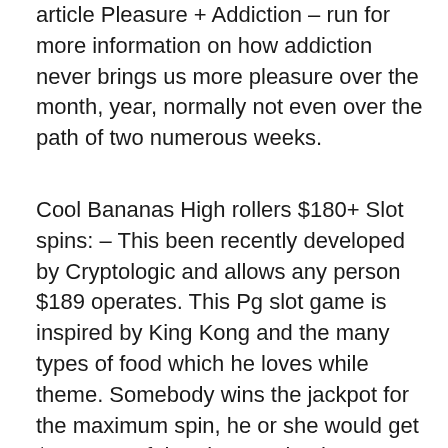article Pleasure + Addiction – run for more information on how addiction never brings us more pleasure over the month, year, normally not even over the path of two numerous weeks.
Cool Bananas High rollers $180+ Slot spins: – This been recently developed by Cryptologic and allows any person $189 operates. This Pg slot game is inspired by King Kong and the many types of food which he loves while theme. Somebody wins the jackpot for the maximum spin, he or she would get $200,000. If the player pairs the banana icon with the mighty monkey icon, they will win a prize. This is simply not open to players in USA.